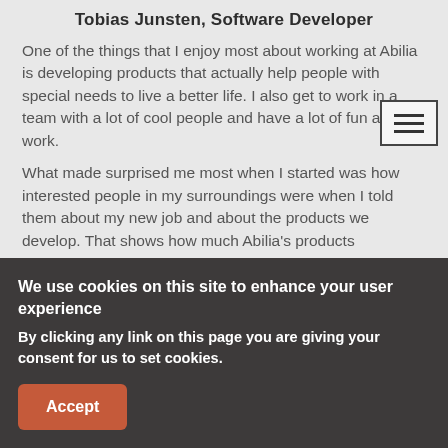Tobias Junsten, Software Developer
One of the things that I enjoy most about working at Abilia is developing products that actually help people with special needs to live a better life. I also get to work in a team with a lot of cool people and have a lot of fun at work.
What made surprised me most when I started was how interested people in my surroundings were when I told them about my new job and about the products we develop. That shows how much Abilia's products
We use cookies on this site to enhance your user experience
By clicking any link on this page you are giving your consent for us to set cookies.
Accept